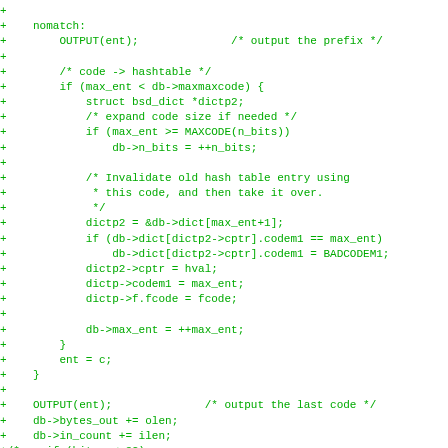[Figure (other): Source code diff showing C code additions with green '+' markers on the left. Code includes a nomatch label, OUTPUT calls, hashtable operations, struct and dictionary manipulations with comments.]